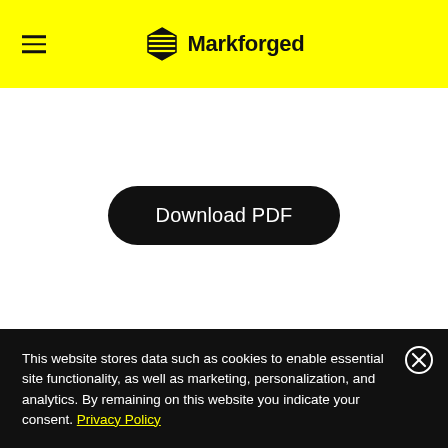Markforged
Download PDF
This website stores data such as cookies to enable essential site functionality, as well as marketing, personalization, and analytics. By remaining on this website you indicate your consent. Privacy Policy